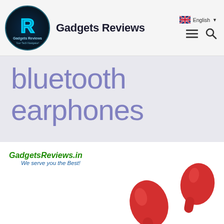Gadgets Reviews
bluetooth earphones
[Figure (photo): GadgetsReviews.in watermark with tagline 'We serve you the Best!' and red bluetooth earphones/TWS earbuds product photo]